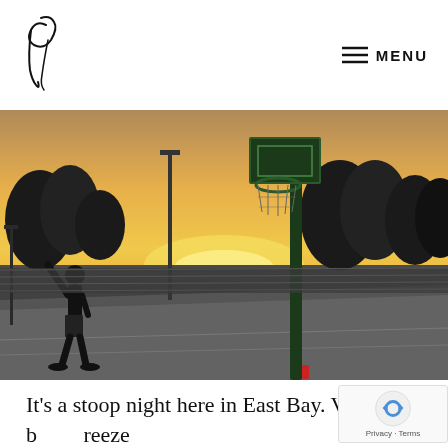Logo / MENU
[Figure (photo): Outdoor basketball court at sunset/dusk. A person in dark clothes stands on the left side of the court. A basketball hoop and pole are in the center-right foreground. The sky glows orange-yellow from the setting sun on the horizon. Silhouettes of trees are visible in the background. Light poles stand tall. A red water bottle sits near the base of the basketball pole.]
It’s a stoop night here in East Bay. Valley breeze & an incredible sundown from the west; Supermoon in the east. All things beautiful, but